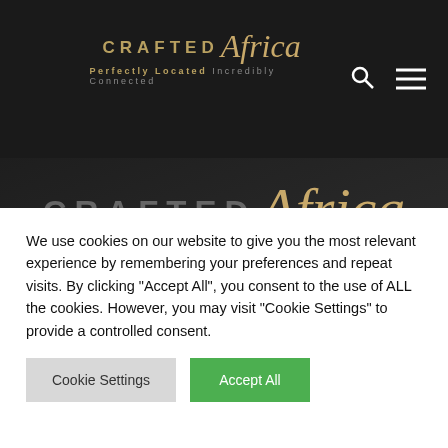CRAFTED Africa — Perfectly Located Incredibly Connected
[Figure (logo): Crafted Africa logo large — CRAFTED in grey bold caps, Africa in gold italic script, tagline Perfectly Located Incredibly Connected below]
ADVENTURE TRAVEL
We use cookies on our website to give you the most relevant experience by remembering your preferences and repeat visits. By clicking "Accept All", you consent to the use of ALL the cookies. However, you may visit "Cookie Settings" to provide a controlled consent.
Cookie Settings | Accept All